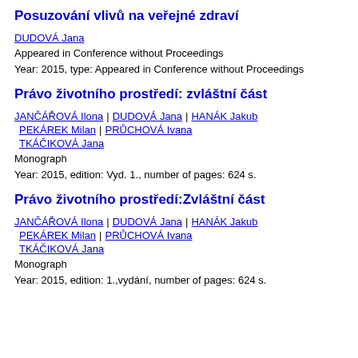Posuzování vlivů na veřejné zdraví
DUDOVÁ Jana
Appeared in Conference without Proceedings
Year: 2015, type: Appeared in Conference without Proceedings
Právo životního prostředí: zvláštní část
JANČÁŘOVÁ Ilona | DUDOVÁ Jana | HANÁK Jakub | PEKÁREK Milan | PRŮCHOVÁ Ivana | TKÁČIKOVÁ Jana
Monograph
Year: 2015, edition: Vyd. 1., number of pages: 624 s.
Právo životního prostředí:Zvláštní část
JANČÁŘOVÁ Ilona | DUDOVÁ Jana | HANÁK Jakub | PEKÁREK Milan | PRŮCHOVÁ Ivana | TKÁČIKOVÁ Jana
Monograph
Year: 2015, edition: 1.,vydání, number of pages: 624 s.